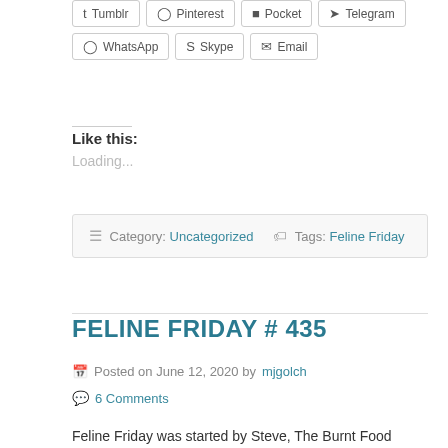Tumblr
Pinterest
Pocket
Telegram
WhatsApp
Skype
Email
Like this:
Loading...
☰ Category: Uncategorized  🏷 Tags: Feline Friday
FELINE FRIDAY # 435
Posted on June 12, 2020 by mjgolch
6 Comments
Feline Friday was started by Steve, The Burnt Food Dude,